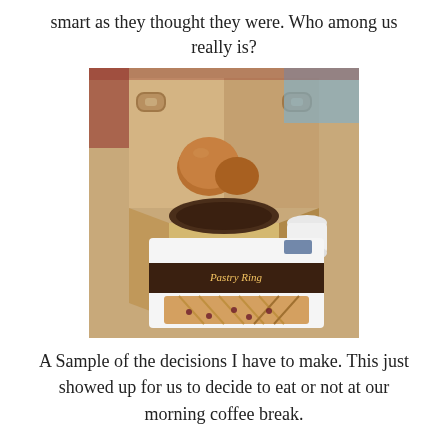smart as they thought they were. Who among us really is?
[Figure (photo): Photo of a cardboard takeaway box open on a table with pastries/bread rolls inside, and a boxed Pastry Ring with a clear window showing the pastry beneath.]
A Sample of the decisions I have to make. This just showed up for us to decide to eat or not at our morning coffee break.